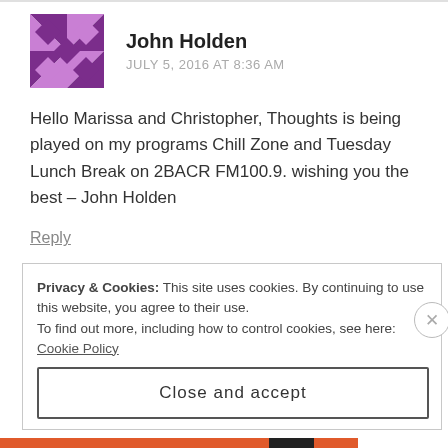[Figure (illustration): Purple and white geometric/quilt-pattern avatar icon for user John Holden]
John Holden
JULY 5, 2016 AT 8:36 AM
Hello Marissa and Christopher, Thoughts is being played on my programs Chill Zone and Tuesday Lunch Break on 2BACR FM100.9. wishing you the best – John Holden
Reply
Privacy & Cookies: This site uses cookies. By continuing to use this website, you agree to their use.
To find out more, including how to control cookies, see here: Cookie Policy
Close and accept